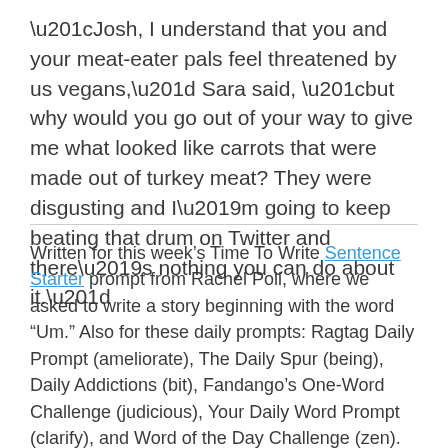“Josh, I understand that you and your meat-eater pals feel threatened by us vegans,” Sara said, “but why would you go out of your way to give me what looked like carrots that were made out of turkey meat? They were disgusting and I’m going to keep beating that drum on Twitter and there’s nothing you can do about it.”
Written for this week’s Time To Write Sentence Starter prompt from Rachel Poli, where we asked to write a story beginning with the word “Um.” Also for these daily prompts: Ragtag Daily Prompt (ameliorate), The Daily Spur (being), Daily Addictions (bit), Fandango’s One-Word Challenge (judicious), Your Daily Word Prompt (clarify), and Word of the Day Challenge (zen). Photo of Arby’s “marrot,” a turkey meat-based carrot, credit: Peyton Fulford for The New York Times.